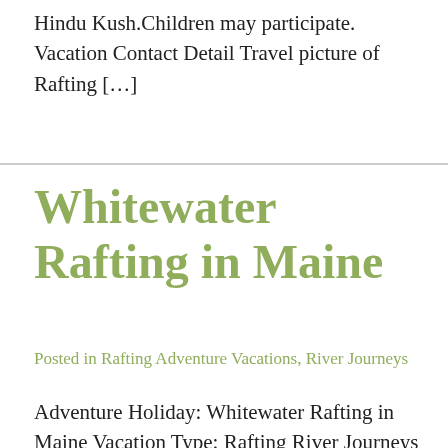Hindu Kush.Children may participate. Vacation Contact Detail Travel picture of Rafting […]
Whitewater Rafting in Maine
Posted in Rafting Adventure Vacations, River Journeys
Adventure Holiday: Whitewater Rafting in Maine Vacation Type: Rafting River Journeys Travel Location: North America United States Northeastern USA Maine Enjoy boiling Class V…